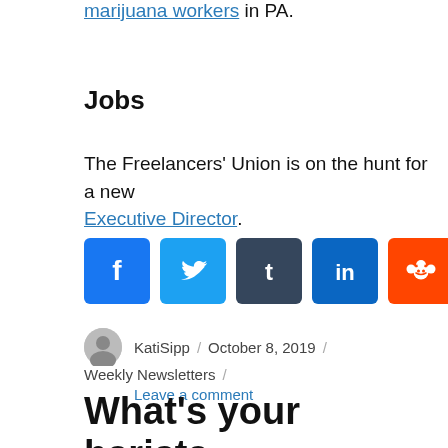marijuana workers in PA.
Jobs
The Freelancers' Union is on the hunt for a new Executive Director.
[Figure (infographic): Social share buttons: Facebook, Twitter, Tumblr, LinkedIn, Reddit, Email, Share+]
KatiSipp / October 8, 2019 / Weekly Newsletters / Leave a comment
What's your barista making?